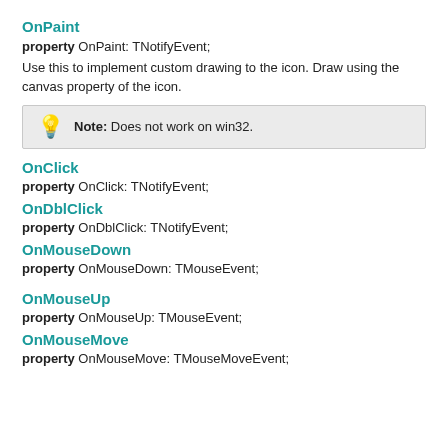OnPaint
property OnPaint: TNotifyEvent;
Use this to implement custom drawing to the icon. Draw using the canvas property of the icon.
Note: Does not work on win32.
OnClick
property OnClick: TNotifyEvent;
OnDblClick
property OnDblClick: TNotifyEvent;
OnMouseDown
property OnMouseDown: TMouseEvent;
OnMouseUp
property OnMouseUp: TMouseEvent;
OnMouseMove
property OnMouseMove: TMouseMoveEvent;